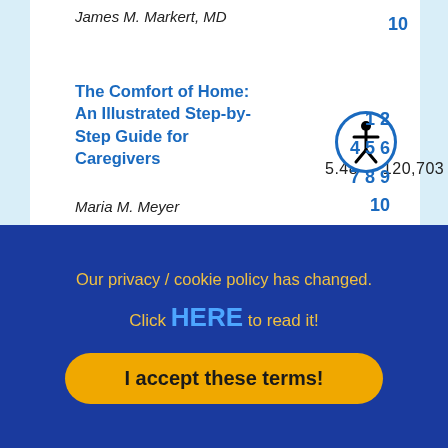James M. Markert, MD
10
The Comfort of Home: An Illustrated Step-by-Step Guide for Caregivers
5.48     120,703
1 2
4 5 6
7 8 9
10
Maria M. Meyer
Our privacy / cookie policy has changed.
Click HERE to read it!
I accept these terms!